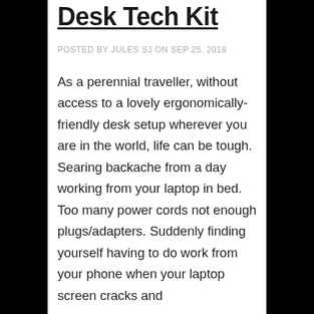Desk Tech Kit
POSTED BY JULES SJ ON SEP 25, 2018
As a perennial traveller, without access to a lovely ergonomically-friendly desk setup wherever you are in the world, life can be tough. Searing backache from a day working from your laptop in bed. Too many power cords not enough plugs/adapters. Suddenly finding yourself having to do work from your phone when your laptop screen cracks and